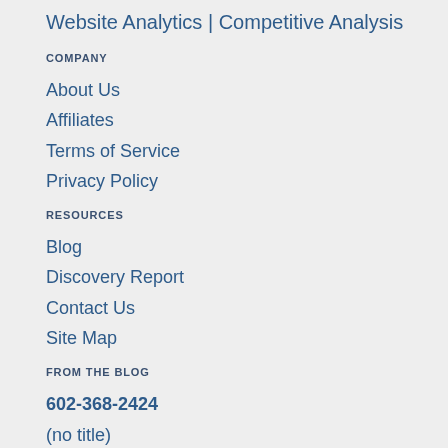Website Analytics | Competitive Analysis
COMPANY
About Us
Affiliates
Terms of Service
Privacy Policy
RESOURCES
Blog
Discovery Report
Contact Us
Site Map
FROM THE BLOG
602-368-2424
(no title)
(no title)
(no title)